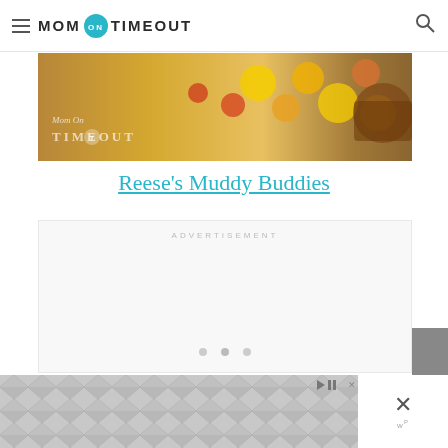Mom On Timeout
[Figure (photo): Food photo showing colorful candy-covered chocolates and Reese's peanut butter cups on a wooden surface. The Mom On Timeout watermark logo is overlaid in the lower left.]
Reese's Muddy Buddies
ADVERTISEMENT
[Figure (infographic): Advertisement placeholder with navigation dots at the bottom]
[Figure (infographic): Bottom advertisement banner with hexagonal/chevron gray pattern and ad controls including play/pause, close X button, and Wordads badge]